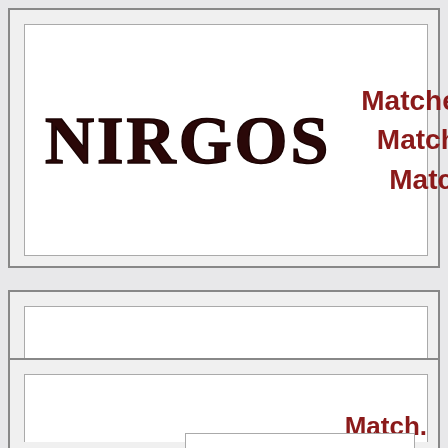NIRGOS   Matches. Match. Matc.
Match.